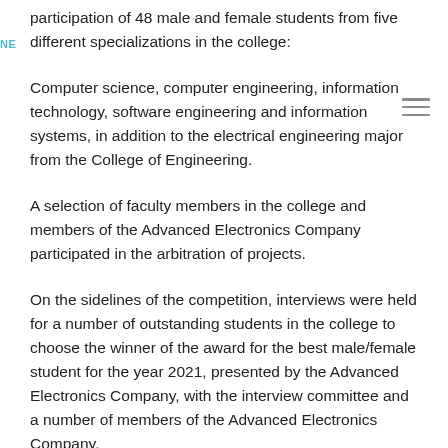participation of 48 male and female students from five different specializations in the college:
Computer science, computer engineering, information technology, software engineering and information systems, in addition to the electrical engineering major from the College of Engineering.
A selection of faculty members in the college and members of the Advanced Electronics Company participated in the arbitration of projects.
On the sidelines of the competition, interviews were held for a number of outstanding students in the college to choose the winner of the award for the best male/female student for the year 2021, presented by the Advanced Electronics Company, with the interview committee and a number of members of the Advanced Electronics Company.
The winning projects in the competition for the best graduation